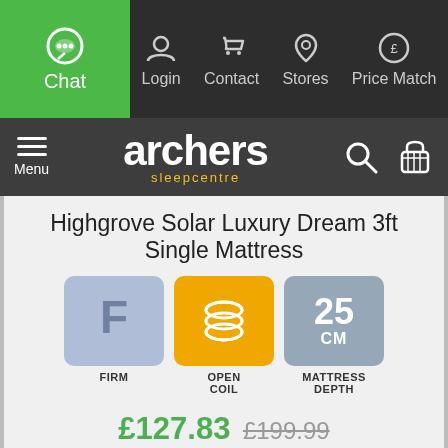Chat | Login | Contact | Stores | Price Match
[Figure (logo): Archers Sleepcentre logo with menu, search and basket icons]
Highgrove Solar Luxury Dream 3ft Single Mattress
[Figure (infographic): Three icons: Firm (F letter on blue background), Open Coil (coil spring on orange background), 25 CM Mattress Depth (on grey background)]
£127.83 £199.99
FREE day of choice delivery
We use cookies to improve your experience. By continuing you agree to the use of our cookies.
ACCEPT AND CLOSE